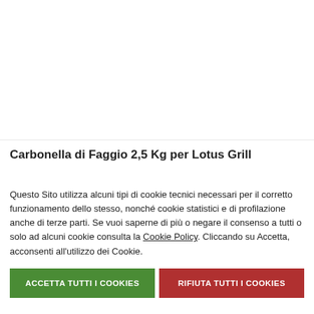[Figure (photo): Product image area (white/blank) for Carbonella di Faggio 2,5 Kg per Lotus Grill]
Carbonella di Faggio 2,5 Kg per Lotus Grill
Questo Sito utilizza alcuni tipi di cookie tecnici necessari per il corretto funzionamento dello stesso, nonché cookie statistici e di profilazione anche di terze parti. Se vuoi saperne di più o negare il consenso a tutti o solo ad alcuni cookie consulta la Cookie Policy. Cliccando su Accetta, acconsenti all'utilizzo dei Cookie.
ACCETTA TUTTI I COOKIES | RIFIUTA TUTTI I COOKIES